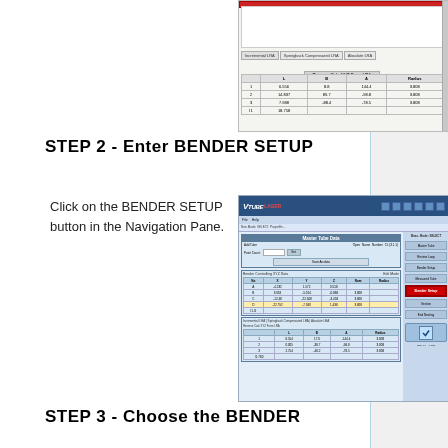[Figure (screenshot): VTube-LASER software screenshot showing a data table with columns L, B, A, Radius and rows of bend data values. Red border at top.]
STEP 2 - Enter BENDER SETUP
Click on the BENDER SETUP button in the Navigation Pane.
[Figure (screenshot): VTube-LASER software screenshot showing Master Tube Data dialog with bend data table and Bender Setup button highlighted with red arrow in the Navigation Pane on the right side.]
STEP 3 - Choose the BENDER